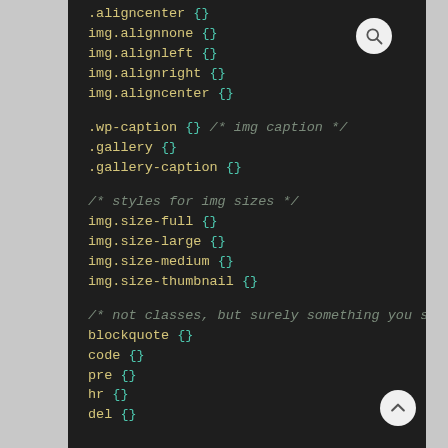[Figure (screenshot): Code editor screenshot showing CSS selectors and rules on a dark background]
.aligncenter {}
img.alignnone {}
img.alignleft {}
img.alignright {}
img.aligncenter {}

.wp-caption {} /* img caption */
.gallery {}
.gallery-caption {}

/* styles for img sizes */
img.size-full {}
img.size-large {}
img.size-medium {}
img.size-thumbnail {}

/* not classes, but surely something you should take ca
blockquote {}
code {}
pre {}
hr {}
del {}